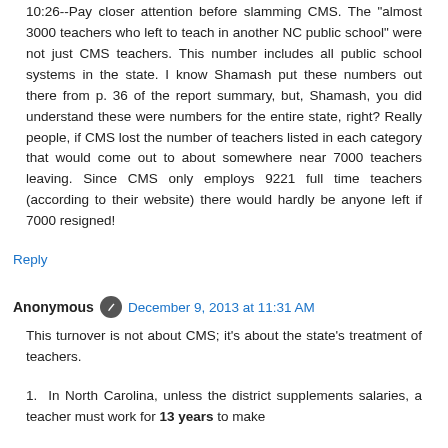10:26--Pay closer attention before slamming CMS. The "almost 3000 teachers who left to teach in another NC public school" were not just CMS teachers. This number includes all public school systems in the state. I know Shamash put these numbers out there from p. 36 of the report summary, but, Shamash, you did understand these were numbers for the entire state, right? Really people, if CMS lost the number of teachers listed in each category that would come out to about somewhere near 7000 teachers leaving. Since CMS only employs 9221 full time teachers (according to their website) there would hardly be anyone left if 7000 resigned!
Reply
Anonymous  December 9, 2013 at 11:31 AM
This turnover is not about CMS; it's about the state's treatment of teachers.
1.  In North Carolina, unless the district supplements salaries, a teacher must work for 13 years to make